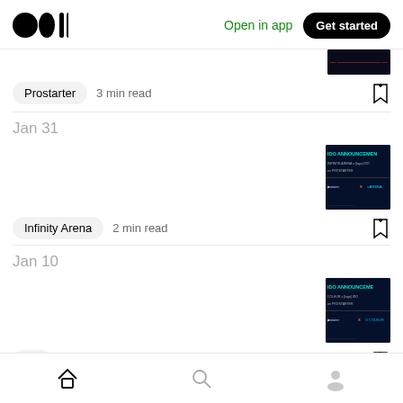Medium logo | Open in app | Get started
Prostarter  3 min read
Jan 31
[Figure (screenshot): IDO announcement image for Infinity Arena x ProStarter, dark blue background with glowing text]
Infinity Arena  2 min read
Jan 10
[Figure (screenshot): IDO announcement image for Coleur x ProStarter, dark blue background with glowing text]
Ido  2 min read
Home | Search | Profile